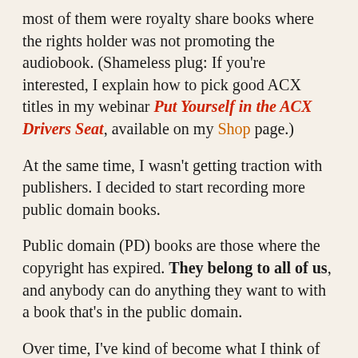most of them were royalty share books where the rights holder was not promoting the audiobook. (Shameless plug: If you're interested, I explain how to pick good ACX titles in my webinar Put Yourself in the ACX Drivers Seat, available on my Shop page.)
At the same time, I wasn't getting traction with publishers. I decided to start recording more public domain books.
Public domain (PD) books are those where the copyright has expired. They belong to all of us, and anybody can do anything they want to with a book that's in the public domain.
Over time, I've kind of become what I think of as the Public Domain Whisperer™. I regularly search Hatbitrust.org for interesting PD